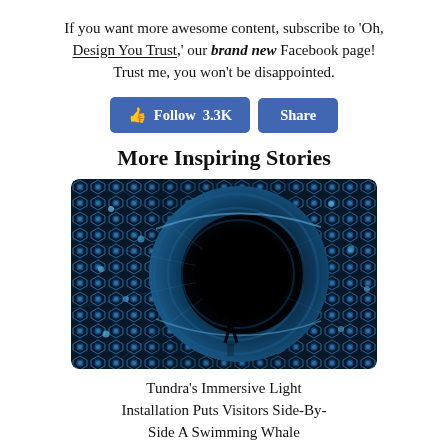If you want more awesome content, subscribe to 'Oh, Design You Trust,' our brand new Facebook page! Trust me, you won't be disappointed.
[Figure (screenshot): Facebook Follow (3.3K) and Share buttons in blue]
More Inspiring Stories
[Figure (photo): A person standing inside a dark immersive tunnel covered with glowing blue and white hexagonal LED lights, creating a vortex effect]
Tundra's Immersive Light Installation Puts Visitors Side-By-Side A Swimming Whale